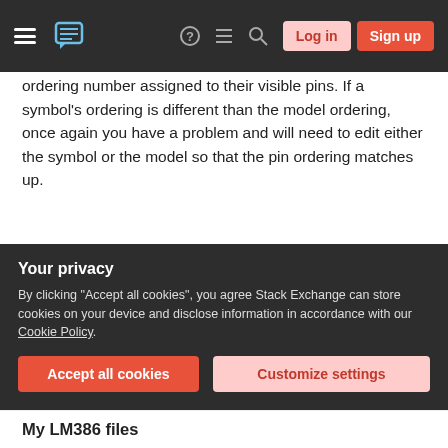Stack Exchange navigation bar with hamburger menu, logo, help, chat, search icons, Log in and Sign up buttons
ordering number assigned to their visible pins. If a symbol's ordering is different than the model ordering, once again you have a problem and will need to edit either the symbol or the model so that the pin ordering matches up.
In short, don't expect everything to "just work right." If the model and the symbol come from the same source, chances are that they will work without you needing to examine them. But if you pick up a model from one place and a symbol from another, or
Your privacy
By clicking "Accept all cookies", you agree Stack Exchange can store cookies on your device and disclose information in accordance with our Cookie Policy.
My LM386 files